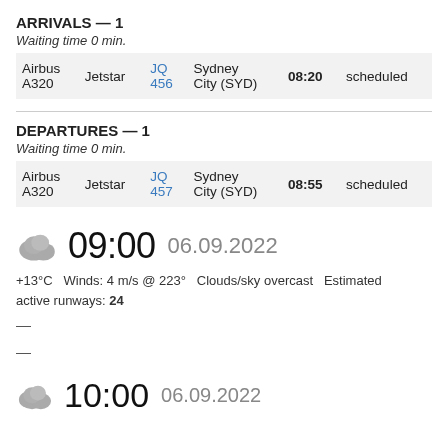ARRIVALS — 1
Waiting time 0 min.
| Aircraft | Airline | Flight | Destination | Time | Status |
| --- | --- | --- | --- | --- | --- |
| Airbus A320 | Jetstar | JQ 456 | Sydney City (SYD) | 08:20 | scheduled |
DEPARTURES — 1
Waiting time 0 min.
| Aircraft | Airline | Flight | Destination | Time | Status |
| --- | --- | --- | --- | --- | --- |
| Airbus A320 | Jetstar | JQ 457 | Sydney City (SYD) | 08:55 | scheduled |
09:00  06.09.2022
+13°C   Winds: 4 m/s @ 223°   Clouds/sky overcast   Estimated active runways: 24
—
—
10:00  06.09.2022